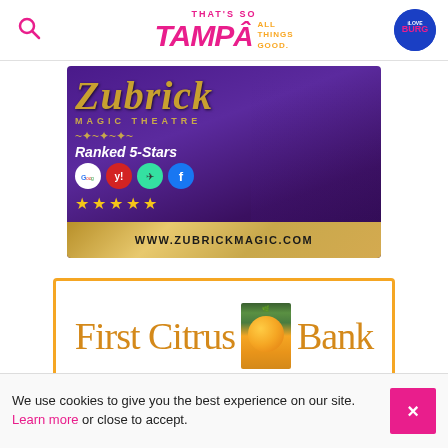That's So Tampa – All Things Good. [with search icon and iLoveBurg logo]
[Figure (advertisement): Zubrick Magic Theatre advertisement with purple/gold design, two performers in sequined jackets, '5-Star Ranked' with Google, Yelp, TripAdvisor, Facebook logos, five gold stars, and www.zubrickmagic.com]
[Figure (advertisement): First Citrus Bank advertisement with orange border, orange script logo text and orange image of citrus fruit on branch]
We use cookies to give you the best experience on our site. Learn more or close to accept.